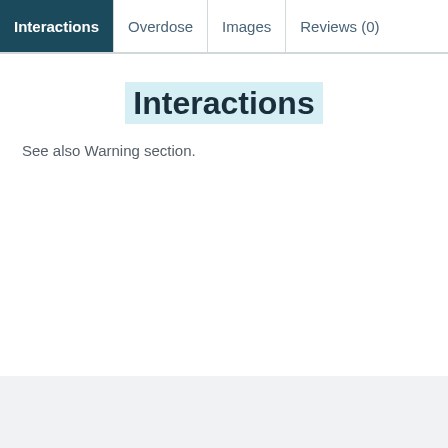Interactions | Overdose | Images | Reviews (0)
Interactions
See also Warning section.